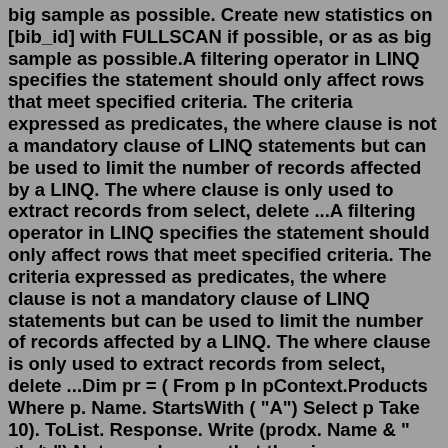big sample as possible. Create new statistics on [bib_id] with FULLSCAN if possible, or as as big sample as possible.A filtering operator in LINQ specifies the statement should only affect rows that meet specified criteria. The criteria expressed as predicates, the where clause is not a mandatory clause of LINQ statements but can be used to limit the number of records affected by a LINQ. The where clause is only used to extract records from select, delete ...A filtering operator in LINQ specifies the statement should only affect rows that meet specified criteria. The criteria expressed as predicates, the where clause is not a mandatory clause of LINQ statements but can be used to limit the number of records affected by a LINQ. The where clause is only used to extract records from select, delete ...Dim pr = ( From p In pContext.Products Where p. Name. StartsWith ( "A") Select p Take 10). ToList. Response. Write (prodx. Name & "<br/>") Note : make sure that the given parameter for character or